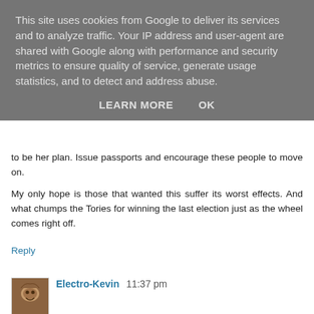This site uses cookies from Google to deliver its services and to analyze traffic. Your IP address and user-agent are shared with Google along with performance and security metrics to ensure quality of service, generate usage statistics, and to detect and address abuse.
LEARN MORE    OK
to be her plan. Issue passports and encourage these people to move on.
My only hope is those that wanted this suffer its worst effects. And what chumps the Tories for winning the last election just as the wheel comes right off.
Reply
Electro-Kevin  11:37 pm
I'm with Elby. Many leaders that are not to our taste keep a lid on things.